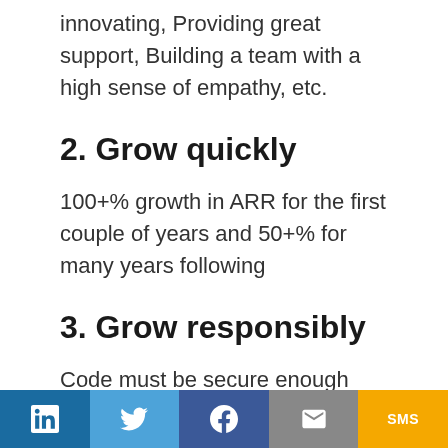innovating, Providing great support, Building a team with a high sense of empathy, etc.
2. Grow quickly
100+% growth in ARR for the first couple of years and 50+% for many years following
3. Grow responsibly
Code must be secure enough and data must be treated with such care that
LinkedIn | Twitter | Facebook | Email | SMS